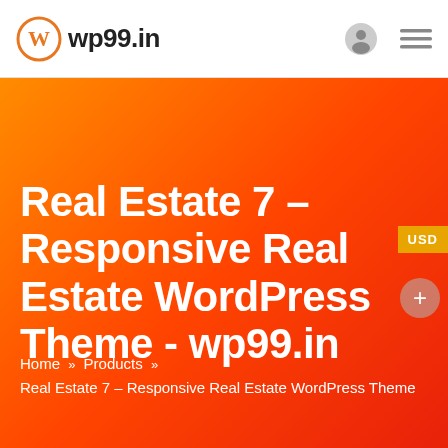wp99.in
Real Estate 7 – Responsive Real Estate WordPress Theme - wp99.in
Home » Products » Real Estate 7 – Responsive Real Estate WordPress Theme